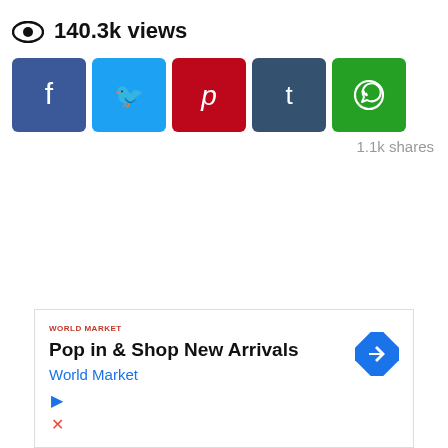140.3k views
[Figure (infographic): Social media share buttons: Facebook (blue), Twitter (light blue), Pinterest (red), Tumblr (dark blue), WhatsApp (green)]
1.1k shares
[Figure (infographic): Advertisement box: Pop in & Shop New Arrivals, World Market, with logo and arrow icon, and ad control buttons]